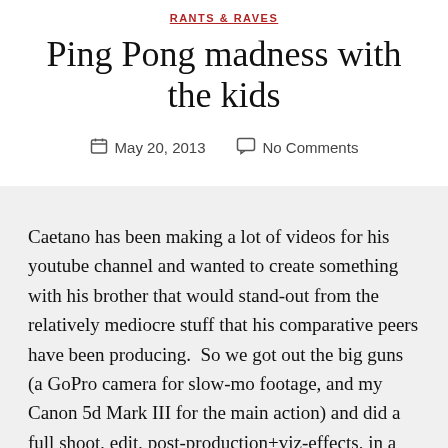RANTS & RAVES
Ping Pong madness with the kids
May 20, 2013   No Comments
Caetano has been making a lot of videos for his youtube channel and wanted to create something with his brother that would stand-out from the relatively mediocre stuff that his comparative peers have been producing.  So we got out the big guns (a GoPro camera for slow-mo footage, and my Canon 5d Mark III for the main action) and did a full shoot, edit, post-production+viz-effects, in a 4hr intensive